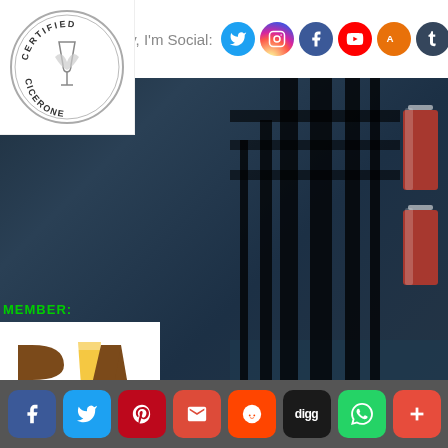[Figure (screenshot): Website sidebar screenshot showing social media header bar with 'Hey, I'm Social:' text and social media icons (Twitter, Instagram, Facebook, YouTube, Google+, Tumblr, Pinterest, RSS)]
[Figure (logo): Certified Cicerone circular badge/seal in silver and black]
MEMBER:
[Figure (logo): Brewers Association Member badge with BA logo and 'BREWERS ASSOCIATION MEMBER' text]
MEMBER:
[Figure (screenshot): Background photo of dark Adirondack chairs on a dock at dusk with beer glasses on the right side]
[Figure (infographic): Social share bar at bottom with Facebook, Twitter, Pinterest, Gmail, Reddit, Digg, WhatsApp, and More buttons]